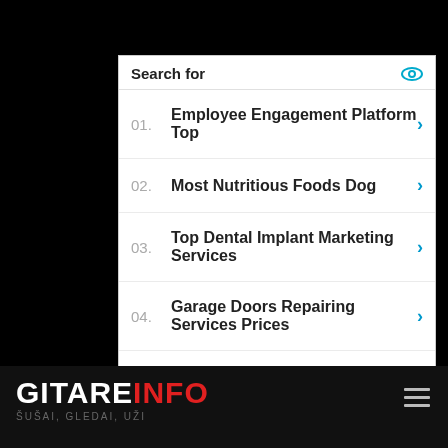Search for
01. Employee Engagement Platform Top
02. Most Nutritious Foods Dog
03. Top Dental Implant Marketing Services
04. Garage Doors Repairing Services Prices
05. Mobile Phone Service Provider
Yahoo! Search | Sponsored
GITAREINFO